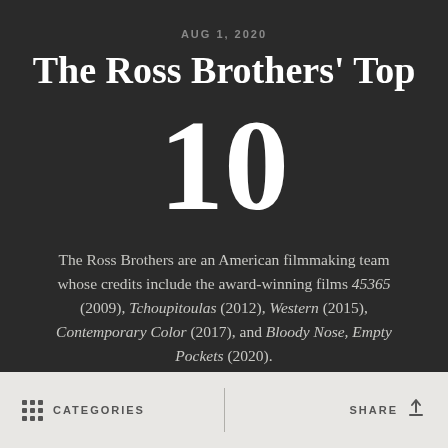AUG 1, 2020
The Ross Brothers' Top
10
The Ross Brothers are an American filmmaking team whose credits include the award-winning films 45365 (2009), Tchoupitoulas (2012), Western (2015), Contemporary Color (2017), and Bloody Nose, Empty Pockets (2020).
CATEGORIES    SHARE